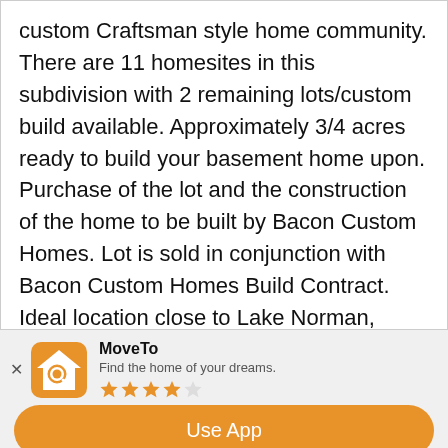custom Craftsman style home community. There are 11 homesites in this subdivision with 2 remaining lots/custom build available. Approximately 3/4 acres ready to build your basement home upon. Purchase of the lot and the construction of the home to be built by Bacon Custom Homes. Lot is sold in conjunction with Bacon Custom Homes Build Contract. Ideal location close to Lake Norman, Hager Creek boat launch, marinas, restaurants and more! Build your dream home with Bacon Custom Homes!
[Figure (logo): MoveTo app icon — orange house with magnifying glass]
MoveTo
Find the home of your dreams.
★★★★☆
Use App